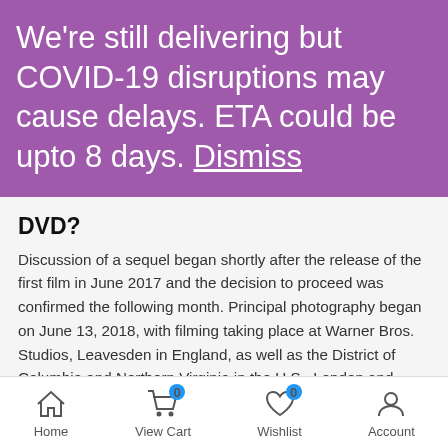We're still delivering but COVID-19 disruptions may cause delays. ETA could be upto 8 days. Dismiss
DVD?
Discussion of a sequel began shortly after the release of the first film in June 2017 and the decision to proceed was confirmed the following month. Principal photography began on June 13, 2018, with filming taking place at Warner Bros. Studios, Leavesden in England, as well as the District of Columbia and Northern Virginia in the U.S., London and Duxford in England, Tenerife and Fuerteventura in the Canary Islands, and Almería in Andalusia, Spain. Production
Home | View Cart 0 | Wishlist 0 | Account